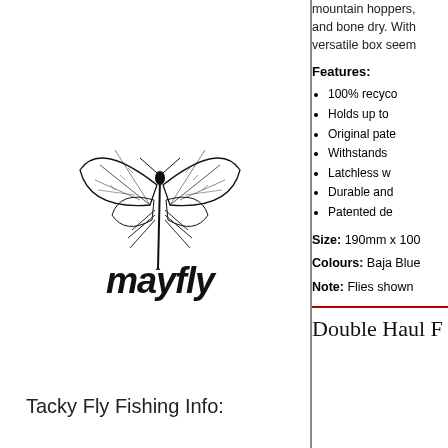mountain hoppers, and bone dry. With versatile box seem
Features:
100% recyco
Holds up to
Original pate
Withstands
Latchless w
Durable and
Patented de
Size: 190mm x 100
Colours: Baja Blue
Note: Flies shown
[Figure (illustration): Mayfly insect illustration with wings and tail, above italic bold Mayfly brand logo text]
Tacky Fly Fishing Info:
Double Haul F